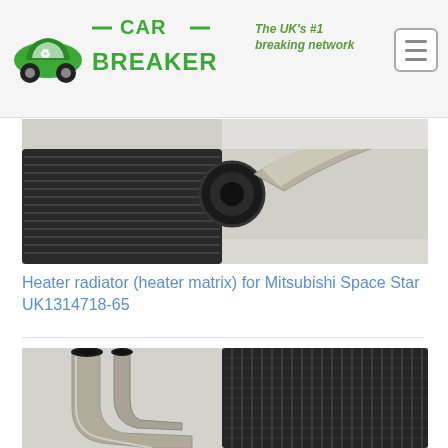CAR BREAKER — The UK's #1 breaking network
[Figure (photo): Close-up photo of a heater radiator (heater matrix) showing metal fins and two pipe outlets, placed on a white surface]
Heater radiator (heater matrix) for Mitsubishi Space Star UK1314718-65
[Figure (photo): Photo of another heater radiator (heater matrix) showing two bent metal pipe outlets and vertical fin core, placed on a white surface]